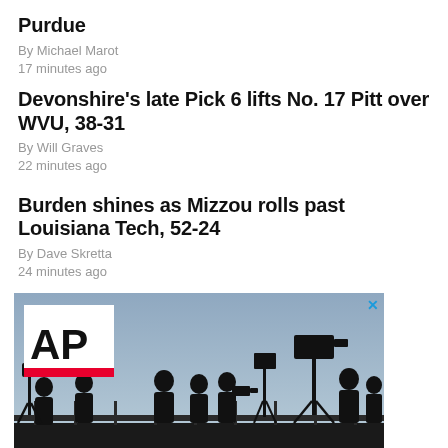Purdue
By Michael Marot
17 minutes ago
Devonshire's late Pick 6 lifts No. 17 Pitt over WVU, 38-31
By Will Graves
22 minutes ago
Burden shines as Mizzou rolls past Louisiana Tech, 52-24
By Dave Skretta
24 minutes ago
[Figure (photo): AP News advertisement banner showing AP logo on white box with red stripe and silhouettes of camera crew against a blue-grey sky]